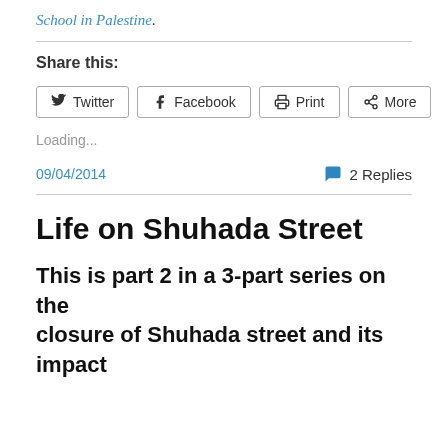School in Palestine.
Share this:
Twitter  Facebook  Print  More
Loading...
09/04/2014
2 Replies
Life on Shuhada Street
This is part 2 in a 3-part series on the closure of Shuhada street and its impact